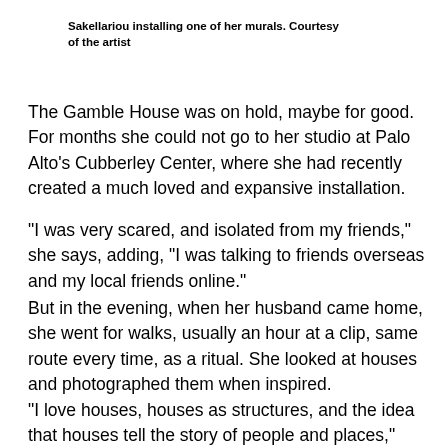Sakellariou installing one of her murals. Courtesy of the artist
The Gamble House was on hold, maybe for good. For months she could not go to her studio at Palo Alto’s Cubberley Center, where she had recently created a much loved and expansive installation.
“I was very scared, and isolated from my friends,” she says, adding, “I was talking to friends overseas and my local friends online.”
But in the evening, when her husband came home, she went for walks, usually an hour at a clip, same route every time, as a ritual. She looked at houses and photographed them when inspired.
“I love houses, houses as structures, and the idea that houses tell the story of people and places,” Sakellariou says. Back home she would digitally manipulate the